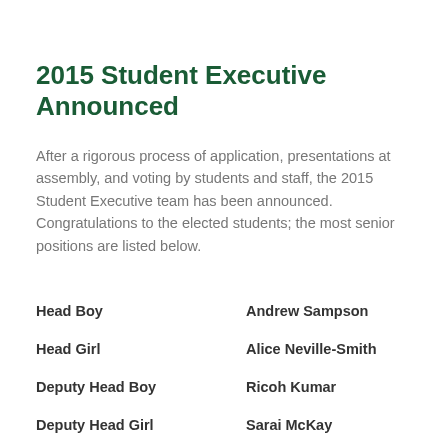2015 Student Executive Announced
After a rigorous process of application, presentations at assembly, and voting by students and staff, the 2015 Student Executive team has been announced. Congratulations to the elected students; the most senior positions are listed below.
Head Boy — Andrew Sampson
Head Girl — Alice Neville-Smith
Deputy Head Boy — Ricoh Kumar
Deputy Head Girl — Sarai McKay
Academic Captain (M) — Raynil Laxmidas
Academic Captain (F) — Sachi Rathod